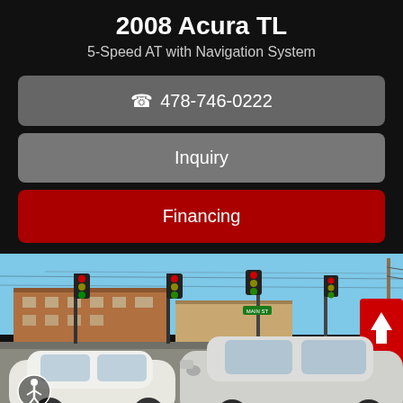2008 Acura TL
5-Speed AT with Navigation System
📞 478-746-0222
Inquiry
Financing
[Figure (photo): Photo of a silver 2008 Acura TL sedan parked in a dealership lot at an intersection, with traffic lights, commercial buildings in background, and a red kiosk with white arrow on the right side.]